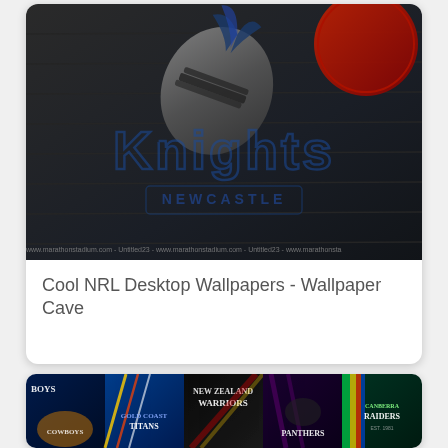[Figure (photo): Newcastle Knights NRL wallpaper with dark grunge background, knight helmet logo and 'Knights Newcastle' text watermarked with marathonstadium.com]
Cool NRL Desktop Wallpapers - Wallpaper Cave
[Figure (photo): NRL teams wallpaper collage showing Cowboys, Titans, Warriors, Panthers and Raiders team logos and colors]